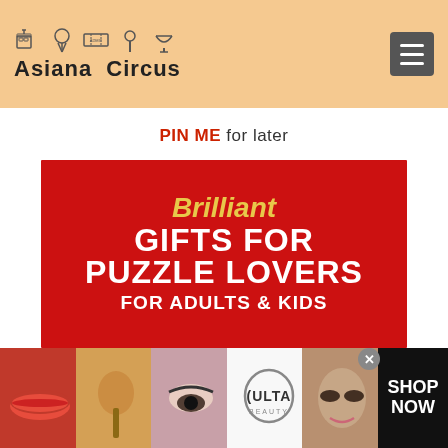[Figure (logo): Asiana Circus website header with logo showing small icons (ticket, ice cream, etc.) and site name 'Asiana Circus', with hamburger menu button on right, on peach/orange background]
PIN ME for later
[Figure (illustration): Red banner graphic reading 'Brilliant GIFTS FOR PUZZLE LOVERS FOR ADULTS & KIDS' with yellow italic 'Brilliant' and white bold uppercase text]
[Figure (photo): Advertisement bar at bottom showing beauty/makeup product photos and Ulta Beauty logo with 'SHOP NOW' text and a close button]